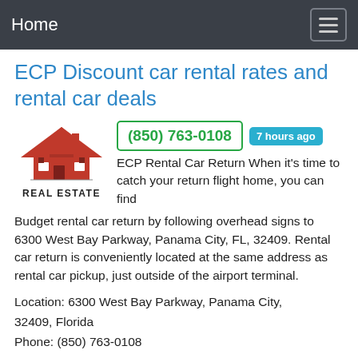Home
ECP Discount car rental rates and rental car deals
[Figure (logo): Red house roof logo with the text REAL ESTATE below it]
(850) 763-0108 | 7 hours ago | ECP Rental Car Return When it's time to catch your return flight home, you can find Budget rental car return by following overhead signs to 6300 West Bay Parkway, Panama City, FL, 32409. Rental car return is conveniently located at the same address as rental car pickup, just outside of the airport terminal.
Location: 6300 West Bay Parkway, Panama City, 32409, Florida
Phone: (850) 763-0108